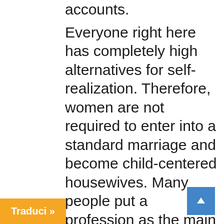accounts. Everyone right here has completely high alternatives for self-realization. Therefore, women are not required to enter into a standard marriage and become child-centered housewives. Many people put a profession as the main norm, and it turns into troublesome to find a partner who is in a position to have your status tip this